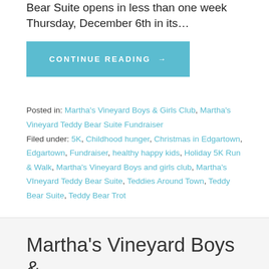Bear Suite opens in less than one week Thursday, December 6th in its…
CONTINUE READING →
Posted in: Martha's Vineyard Boys & Girls Club, Martha's Vineyard Teddy Bear Suite Fundraiser Filed under: 5K, Childhood hunger, Christmas in Edgartown, Edgartown, Fundraiser, healthy happy kids, Holiday 5K Run & Walk, Martha's Vineyard Boys and girls club, Martha's VIneyard Teddy Bear Suite, Teddies Around Town, Teddy Bear Suite, Teddy Bear Trot
Martha's Vineyard Boys & Girls Club Healthy Happy